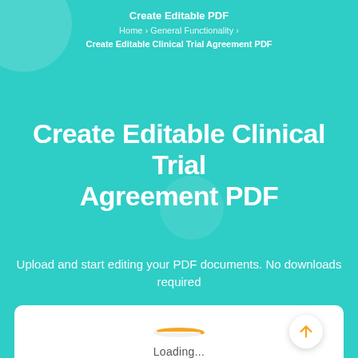Create Editable PDF
Home › General Functionality › Create Editable Clinical Trial Agreement PDF
Create Editable Clinical Trial Agreement PDF
Upload and start editing your PDF documents. No downloads required
[Figure (infographic): White card panel with an orange loading spinner arc and 'Loading...' text below it, plus a circular arrow-up button at bottom right]